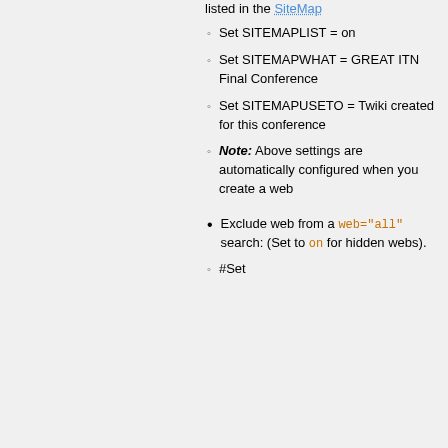listed in the SiteMap
Set SITEMAPLIST = on
Set SITEMAPWHAT = GREAT ITN Final Conference
Set SITEMAPUSETO = Twiki created for this conference
Note: Above settings are automatically configured when you create a web
Exclude web from a web="all" search: (Set to on for hidden webs).
#Set